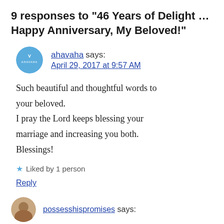9 responses to “46 Years of Delight ... Happy Anniversary, My Beloved!”
ahavaha says:
April 29, 2017 at 9:57 AM
Such beautiful and thoughtful words to your beloved.
I pray the Lord keeps blessing your marriage and increasing you both.
Blessings!
★ Liked by 1 person
Reply
possesshispromises says: